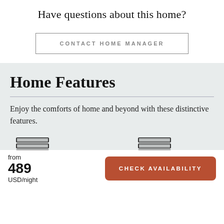Have questions about this home?
CONTACT HOME MANAGER
Home Features
Enjoy the comforts of home and beyond with these distinctive features.
[Figure (illustration): Two bed/furniture icons side by side representing home features amenities]
from 489 USD/night
CHECK AVAILABILITY